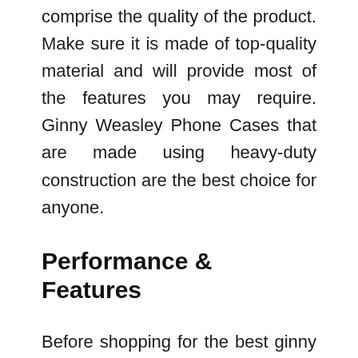comprise the quality of the product. Make sure it is made of top-quality material and will provide most of the features you may require. Ginny Weasley Phone Cases that are made using heavy-duty construction are the best choice for anyone.
Performance & Features
Before shopping for the best ginny weasley phone cases, you should make sure what features you may require from that particular product. You may find a lot of options to choose from but always try to pick the right ginny weasley phone cases that will fulfill most of